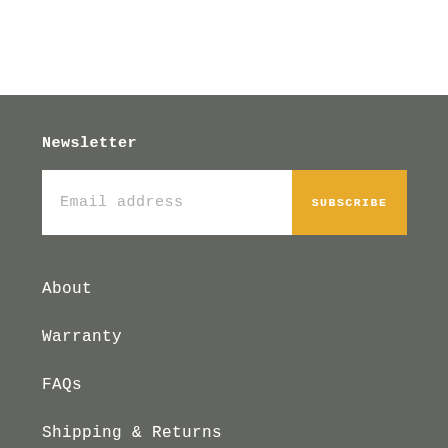Newsletter
Email address
SUBSCRIBE
About
Warranty
FAQs
Shipping & Returns